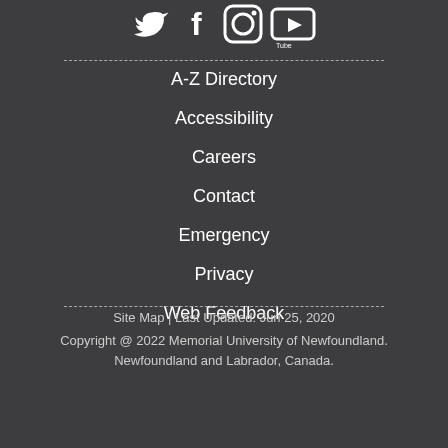[Figure (illustration): Social media icons for Twitter, Facebook, Instagram, and YouTube displayed at the top center]
A-Z Directory
Accessibility
Careers
Contact
Emergency
Privacy
Web Feedback
Site Map | Last Updated: Jun 25, 2020
Copyright @ 2022 Memorial University of Newfoundland. Newfoundland and Labrador, Canada.